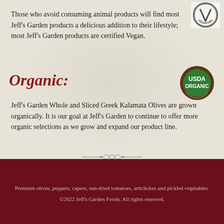[Figure (logo): Vegan.org certified vegan logo — circular badge with V symbol and VEGAN.ORG text]
Those who avoid consuming animal products will find most Jeff's Garden products a delicious addition to their lifestyle; most Jeff's Garden products are certified Vegan.
Organic:
[Figure (logo): USDA Organic circular seal — brown ring with green center, white text USDA ORGANIC]
Jeff's Garden Whole and Sliced Greek Kalamata Olives are grown organically. It is our goal at Jeff's Garden to continue to offer more organic selections as we grow and expand our product line.
[Figure (illustration): Decorative ornamental divider with floral flourish]
Premium olives, peppers, capers, sun-dried tomatoes, artichokes and pickled vegetables.
©2022 Jeff's Garden Foods. All rights reserved.